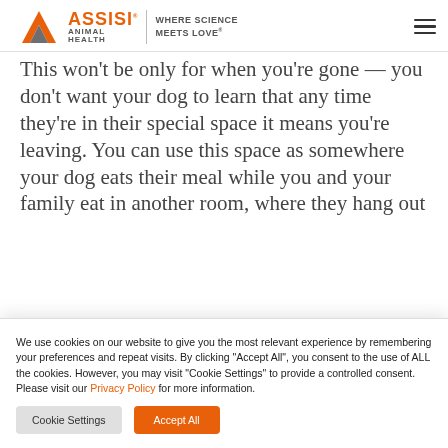Assisi Animal Health — Where Science Meets Love
This won't be only for when you're gone — you don't want your dog to learn that any time they're in their special space it means you're leaving. You can use this space as somewhere your dog eats their meal while you and your family eat in another room, where they hang out
We use cookies on our website to give you the most relevant experience by remembering your preferences and repeat visits. By clicking "Accept All", you consent to the use of ALL the cookies. However, you may visit "Cookie Settings" to provide a controlled consent. Please visit our Privacy Policy for more information.